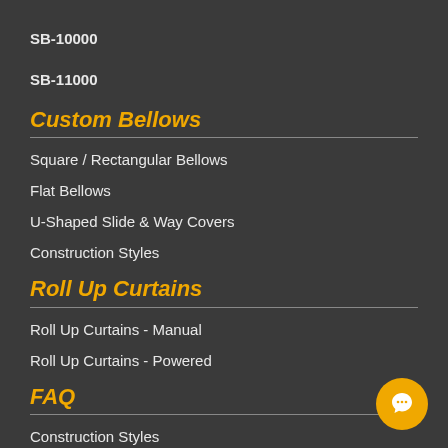SB-10000
SB-11000
Custom Bellows
Square / Rectangular Bellows
Flat Bellows
U-Shaped Slide & Way Covers
Construction Styles
Roll Up Curtains
Roll Up Curtains - Manual
Roll Up Curtains - Powered
FAQ
Construction Styles